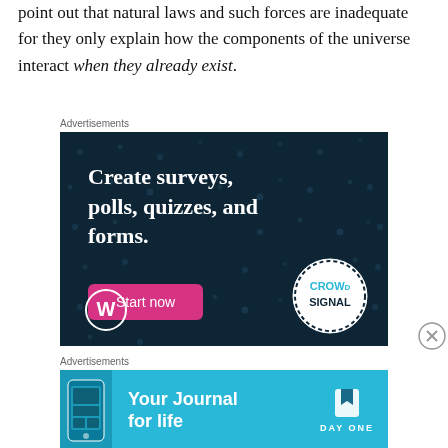point out that natural laws and such forces are inadequate for they only explain how the components of the universe interact when they already exist.
[Figure (infographic): Crowdsignal advertisement: dark navy background with dot pattern, text 'Create surveys, polls, quizzes, and forms.' with pink 'Start now' button, WordPress logo bottom left, Crowdsignal logo bottom right]
[Figure (infographic): Day One app advertisement: light blue background, phone image on left, text 'Your Journal for life', Day One logo and wordmark on right]